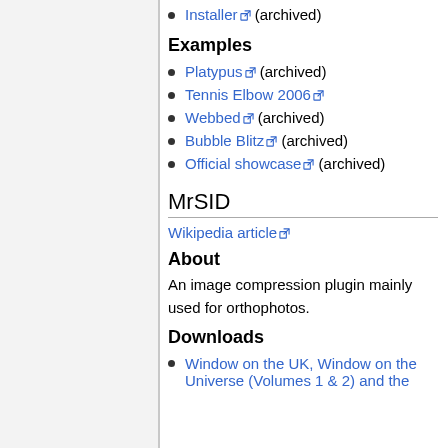Installer (archived)
Examples
Platypus (archived)
Tennis Elbow 2006
Webbed (archived)
Bubble Blitz (archived)
Official showcase (archived)
MrSID
Wikipedia article
About
An image compression plugin mainly used for orthophotos.
Downloads
Window on the UK, Window on the Universe (Volumes 1 & 2) and the